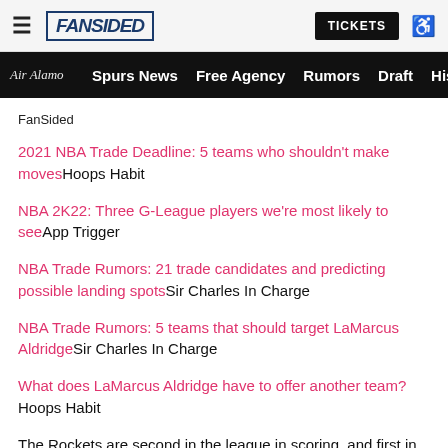FanSided | TICKETS | Air Alamo | Spurs News | Free Agency | Rumors | Draft | His
FanSided
2021 NBA Trade Deadline: 5 teams who shouldn't make moves Hoops Habit
NBA 2K22: Three G-League players we're most likely to see App Trigger
NBA Trade Rumors: 21 trade candidates and predicting possible landing spots Sir Charles In Charge
NBA Trade Rumors: 5 teams that should target LaMarcus Aldridge Sir Charles In Charge
What does LaMarcus Aldridge have to offer another team? Hoops Habit
The Rockets are second in the league in scoring, and first in three-